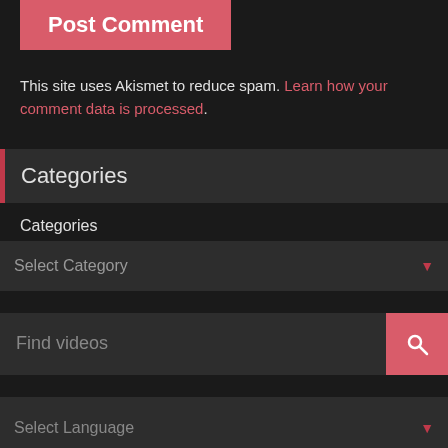Post Comment
This site uses Akismet to reduce spam. Learn how your comment data is processed.
Categories
Categories
Select Category
Find videos
Select Language